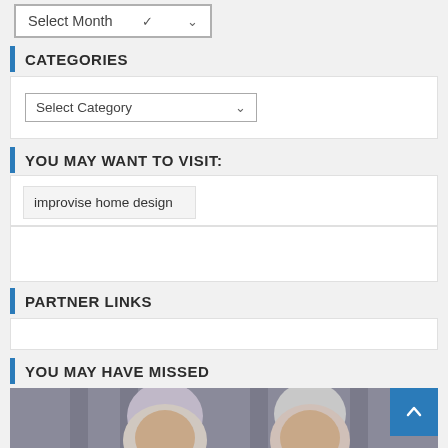[Figure (screenshot): Dropdown select box labeled 'Select Month' with a chevron arrow]
CATEGORIES
[Figure (screenshot): White box containing a dropdown labeled 'Select Category' with a chevron arrow]
YOU MAY WANT TO VISIT:
improvise home design
PARTNER LINKS
YOU MAY HAVE MISSED
[Figure (photo): Photo of two older men, one with white-purple hair and one with gray hair, in front of a columned building. A blue scroll-to-top button is visible in the top-right corner of the photo.]